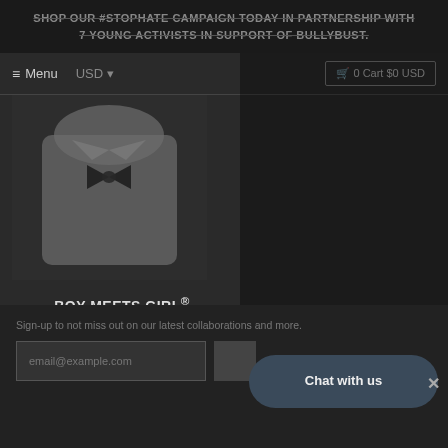SHOP OUR #STOPHATE CAMPAIGN TODAY IN PARTNERSHIP WITH 7 YOUNG ACTIVISTS IN SUPPORT OF BULLYBUST.
≡ Menu  USD ▾   🛒 0 Cart $0 USD
[Figure (photo): Grey hoodie product photo with bow tie graphic on front]
BOY MEETS GIRL® Heather Grey Coco Logo Hoodie
★★★★★
$59.00
Sign-up to not miss out on our latest collaborations and more.
email@example.com
Chat with us